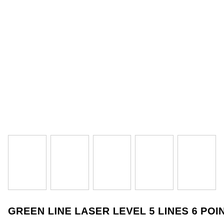[Figure (other): Five empty white rectangular boxes arranged in a horizontal row, each outlined with a thin light gray border]
GREEN LINE LASER LEVEL 5 LINES 6 POINT